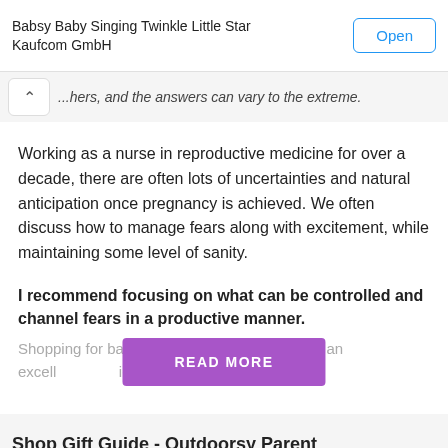Babsy Baby Singing Twinkle Little Star Kaufcom GmbH
...hers, and the answers can vary to the extreme.
Working as a nurse in reproductive medicine for over a decade, there are often lots of uncertainties and natural anticipation once pregnancy is achieved. We often discuss how to manage fears along with excitement, while maintaining some level of sanity.
I recommend focusing on what can be controlled and channel fears in a productive manner.
Shopping for ba... ing a nursery can be an excell... ies, but it can also be ation...
Shop Gift Guide - Outdoorsy Parent
[Figure (illustration): Free delivery icon with truck]